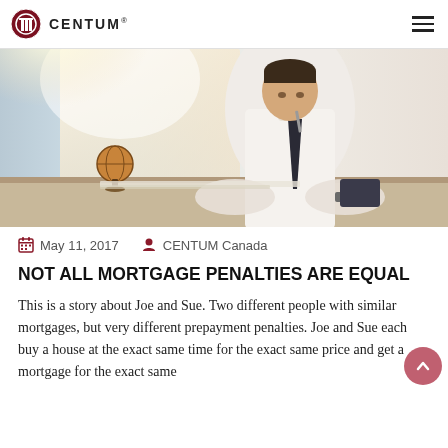CENTUM
[Figure (photo): A man in a white dress shirt and dark tie, leaning over a desk with papers, holding a pen to his chin in a thoughtful pose. A globe is visible in the background near a bright window.]
May 11, 2017   CENTUM Canada
NOT ALL MORTGAGE PENALTIES ARE EQUAL
This is a story about Joe and Sue. Two different people with similar mortgages, but very different prepayment penalties. Joe and Sue each buy a house at the exact same time for the exact same price and get a mortgage for the exact same